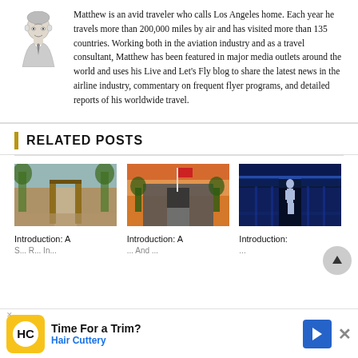[Figure (photo): Headshot portrait of Matthew, a man in business attire, grayscale/line illustration style]
Matthew is an avid traveler who calls Los Angeles home. Each year he travels more than 200,000 miles by air and has visited more than 135 countries. Working both in the aviation industry and as a travel consultant, Matthew has been featured in major media outlets around the world and uses his Live and Let's Fly blog to share the latest news in the airline industry, commentary on frequent flyer programs, and detailed reports of his worldwide travel.
RELATED POSTS
[Figure (photo): Outdoor photo showing a gate or entrance with trees, warm natural light, resembles a historical site]
Introduction: A S... R... In...
[Figure (photo): Outdoor photo of a building entrance with a flag, dusk lighting]
Introduction: A ... And ...
[Figure (photo): Interior of an aircraft cabin with blue ambient lighting and a flight attendant]
Introduction: ...
Time For a Trim? Hair Cuttery (advertisement)